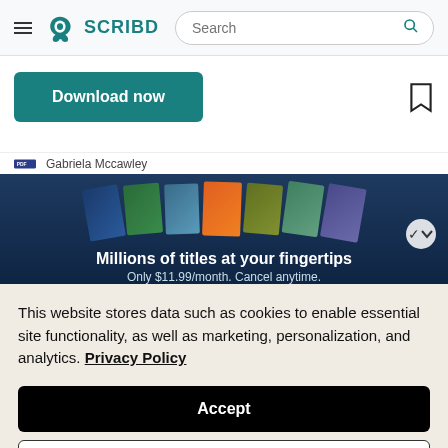Scribd navigation header with hamburger menu, logo, and search bar
Download now
Gabriela Mccawley
[Figure (photo): Scribd promotional banner showing colorful book covers with text: Millions of titles at your fingertips. Only $11.99/month. Cancel anytime.]
This website stores data such as cookies to enable essential site functionality, as well as marketing, personalization, and analytics. Privacy Policy
Accept
Deny